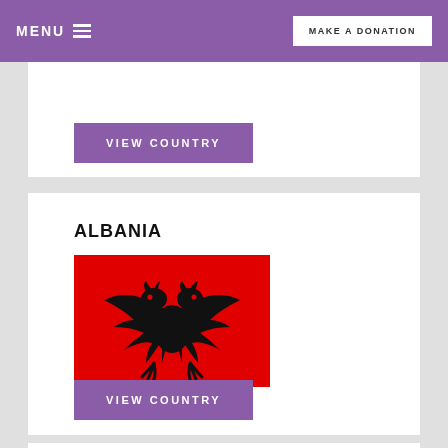MENU  ≡   MAKE A DONATION
VIEW COUNTRY
ALBANIA
[Figure (illustration): Flag of Albania: red background with black double-headed eagle in the center]
VIEW COUNTRY